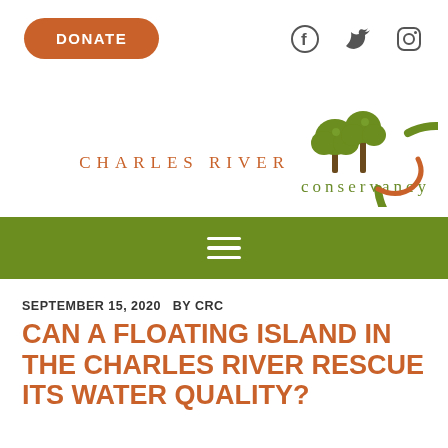[Figure (logo): Donate button (orange rounded rectangle) and social media icons (Facebook, Twitter, Instagram) in top bar]
[Figure (logo): Charles River Conservancy logo with green tree illustration and text 'CHARLES RIVER conservancy']
[Figure (other): Olive green navigation bar with white hamburger menu icon]
SEPTEMBER 15, 2020   BY CRC
CAN A FLOATING ISLAND IN THE CHARLES RIVER RESCUE ITS WATER QUALITY?